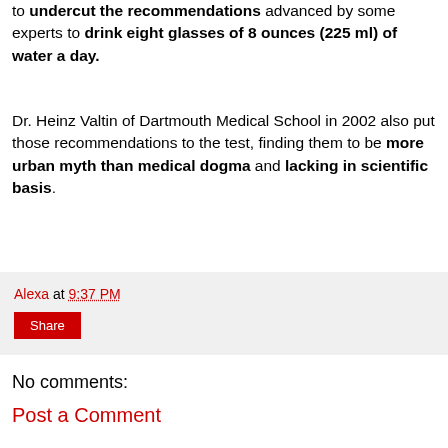to undercut the recommendations advanced by some experts to drink eight glasses of 8 ounces (225 ml) of water a day.
Dr. Heinz Valtin of Dartmouth Medical School in 2002 also put those recommendations to the test, finding them to be more urban myth than medical dogma and lacking in scientific basis.
Alexa at 9:37 PM
Share
No comments:
Post a Comment